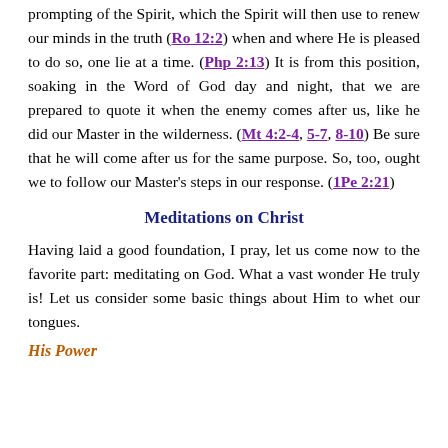prompting of the Spirit, which the Spirit will then use to renew our minds in the truth (Ro 12:2) when and where He is pleased to do so, one lie at a time. (Php 2:13) It is from this position, soaking in the Word of God day and night, that we are prepared to quote it when the enemy comes after us, like he did our Master in the wilderness. (Mt 4:2-4, 5-7, 8-10) Be sure that he will come after us for the same purpose. So, too, ought we to follow our Master's steps in our response. (1Pe 2:21)
Meditations on Christ
Having laid a good foundation, I pray, let us come now to the favorite part: meditating on God. What a vast wonder He truly is! Let us consider some basic things about Him to whet our tongues.
His Power